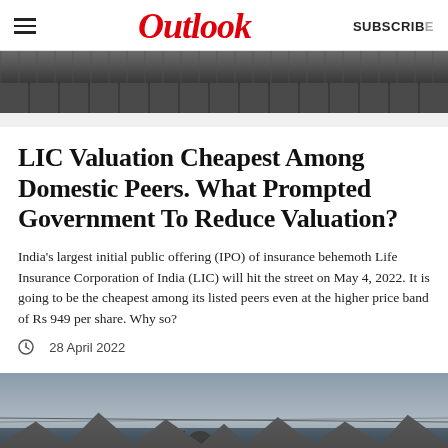Outlook | SUBSCRIBE
[Figure (photo): Top banner image showing a building structure with a grey/dark architectural background]
LIC Valuation Cheapest Among Domestic Peers. What Prompted Government To Reduce Valuation?
India's largest initial public offering (IPO) of insurance behemoth Life Insurance Corporation of India (LIC) will hit the street on May 4, 2022. It is going to be the cheapest among its listed peers even at the higher price band of Rs 949 per share. Why so?
28 April 2022
[Figure (photo): Soldiers in military gear on a vehicle with rooftops and overcast sky in the background]